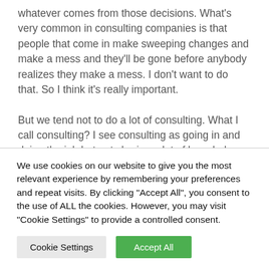whatever comes from those decisions. What's very common in consulting companies is that people that come in make sweeping changes and make a mess and they'll be gone before anybody realizes they make a mess. I don't want to do that. So I think it's really important.

But we tend not to do a lot of consulting. What I call consulting? I see consulting as going in and doing the job but not sharing a lot of knowledge with the people that are there. We tend to talk about mentoring instead. I would rather go and work with the people
We use cookies on our website to give you the most relevant experience by remembering your preferences and repeat visits. By clicking "Accept All", you consent to the use of ALL the cookies. However, you may visit "Cookie Settings" to provide a controlled consent.